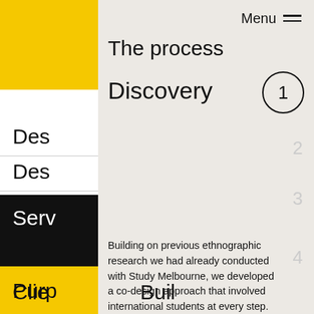Pr
Des
Des
Serv
Purp
Tea
Clie
Buil
Menu
The process
Discovery
Building on previous ethnographic research we had already conducted with Study Melbourne, we developed a co-design approach that involved international students at every step.